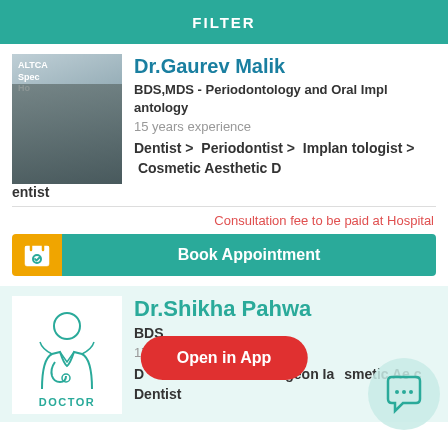FILTER
Dr.Gaurev Malik
BDS,MDS - Periodontology and Oral Implantology
15 years experience
Dentist > Periodontist > Implantologist > Cosmetic Aesthetic Dentist
Consultation fee to be paid at Hospital
Book Appointment
Dr.Shikha Pahwa
BDS
17 years experience
Dentist > Oral Surgeon > Implantologist > Cosmetic Aesthetic Dentist
Open in App